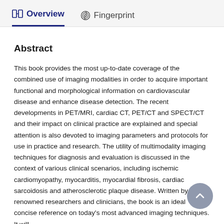Overview   Fingerprint
Abstract
This book provides the most up-to-date coverage of the combined use of imaging modalities in order to acquire important functional and morphological information on cardiovascular disease and enhance disease detection. The recent developments in PET/MRI, cardiac CT, PET/CT and SPECT/CT and their impact on clinical practice are explained and special attention is also devoted to imaging parameters and protocols for use in practice and research. The utility of multimodality imaging techniques for diagnosis and evaluation is discussed in the context of various clinical scenarios, including ischemic cardiomyopathy, myocarditis, myocardial fibrosis, cardiac sarcoidosis and atherosclerotic plaque disease. Written by renowned researchers and clinicians, the book is an ideal concise reference on today's most advanced imaging techniques. It will